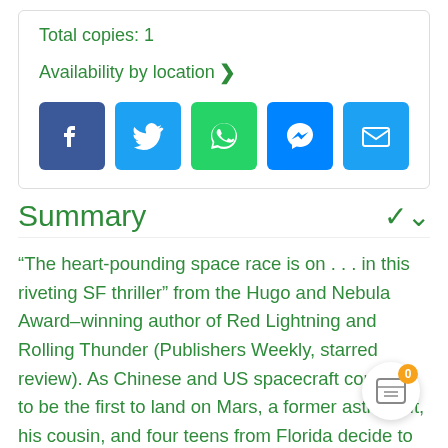Total copies: 1
Availability by location >
[Figure (infographic): Row of social sharing icons: Facebook, Twitter, WhatsApp, Messenger, Email]
Summary
“The heart-pounding space race is on . . . in this riveting SF thriller” from the Hugo and Nebula Award–winning author of Red Lightning and Rolling Thunder (Publishers Weekly, starred review). As Chinese and US spacecraft compete to be the first to land on Mars, a former astronaut, his cousin, and four teens from Florida decide to take matters into their own hands. If they can quickly build their own space-worthy ship using scrap metal, appliances and power tools, they have a chance to come from behind thanks to an inventive new power source that can propel